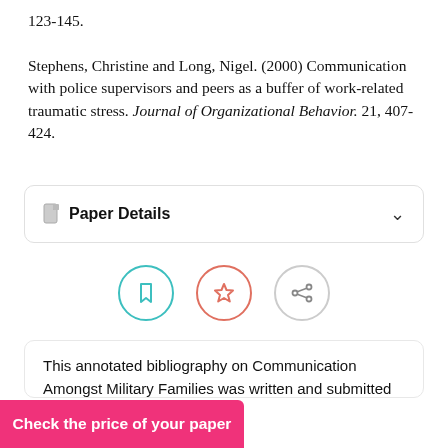123-145.

Stephens, Christine and Long, Nigel. (2000) Communication with police supervisors and peers as a buffer of work-related traumatic stress. Journal of Organizational Behavior. 21, 407-424.
Paper Details
[Figure (other): Three circular icon buttons: bookmark (teal border), star (orange/red border), share (gray border)]
This annotated bibliography on Communication Amongst Military Families was written and submitted by your fellow student. You are free to use it for research and reference purposes in order to write your own paper; however, you
Check the price of your paper